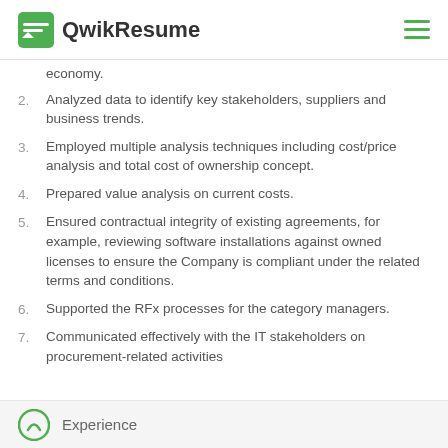QwikResume
economy.
2. Analyzed data to identify key stakeholders, suppliers and business trends.
3. Employed multiple analysis techniques including cost/price analysis and total cost of ownership concept.
4. Prepared value analysis on current costs.
5. Ensured contractual integrity of existing agreements, for example, reviewing software installations against owned licenses to ensure the Company is compliant under the related terms and conditions.
6. Supported the RFx processes for the category managers.
7. Communicated effectively with the IT stakeholders on procurement-related activities
Experience